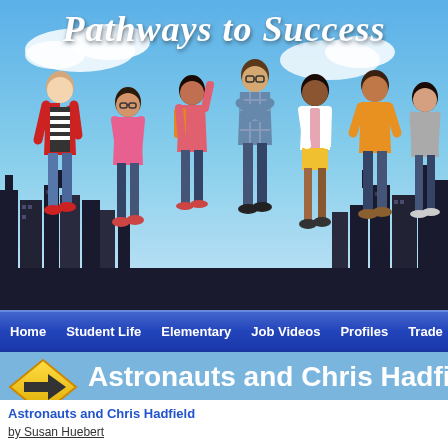[Figure (illustration): Pathways to Success website header showing seven diverse students standing in front of a city skyline against a blue sky background, with the text 'Pathways to Success' in white italic script at the top]
Pathways to Success
[Figure (screenshot): Website navigation bar with links: Home, Student Life, Elementary, Job Videos, Profiles, Trade...]
[Figure (illustration): Yellow diamond-shaped road sign with a black arrow pointing right]
Astronauts and Chris Hadfield
Astronauts and Chris Hadfield
by Susan Huebert